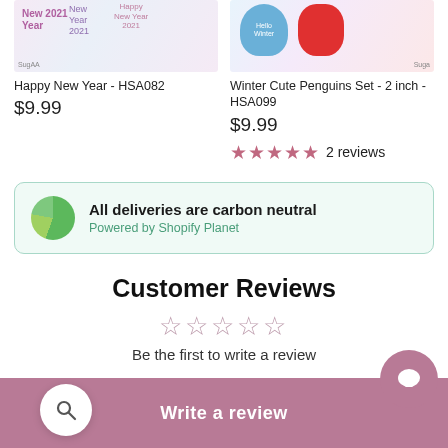[Figure (photo): Product image for Happy New Year HSA082 sticker showing floral/bird designs with watermark]
Happy New Year - HSA082
$9.99
[Figure (photo): Product image for Winter Cute Penguins Set showing mugs with winter designs and watermark]
Winter Cute Penguins Set - 2 inch - HSA099
$9.99
★★★★★ 2 reviews
All deliveries are carbon neutral
Powered by Shopify Planet
Customer Reviews
☆☆☆☆☆
Be the first to write a review
Write a review